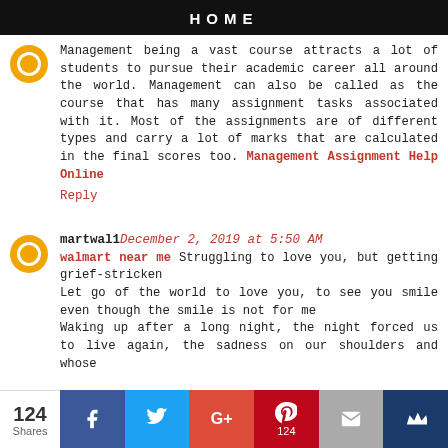HOME
Management being a vast course attracts a lot of students to pursue their academic career all around the world. Management can also be called as the course that has many assignment tasks associated with it. Most of the assignments are of different types and carry a lot of marks that are calculated in the final scores too. Management Assignment Help Online
Reply
martwal1 December 2, 2019 at 5:50 AM
walmart near me Struggling to love you, but getting grief-stricken
Let go of the world to love you, to see you smile even though the smile is not for me
Waking up after a long night, the night forced us to live again, the sadness on our shoulders and whose